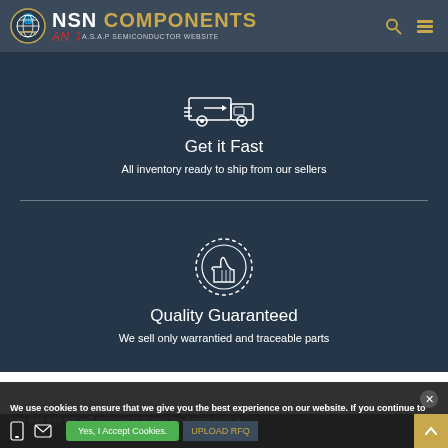NSN COMPONENTS — AN A.S.A.P SEMICONDUCTOR WEBSITE
[Figure (illustration): Delivery truck icon (white outline) on dark blue background]
Get it Fast
All inventory ready to ship from our sellers
[Figure (illustration): Thumbs up badge/seal icon (white outline) on dark blue background]
Quality Guaranteed
We sell only warrantied and traceable parts
We use cookies to ensure that we give you the best experience on our website. If you continue to use this site we will assume that you are happy with it.
Yes, I Accept Cookies.